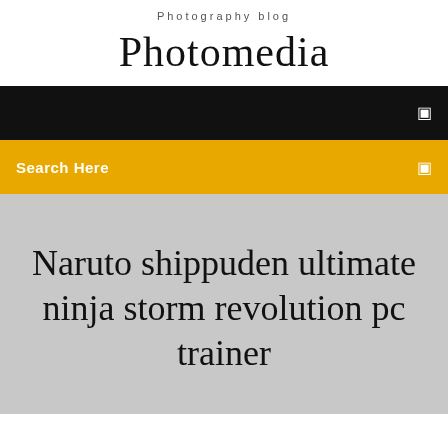Photography blog
Photomedia
[Figure (screenshot): Black navigation bar with white menu icon on right]
Search Here
Naruto shippuden ultimate ninja storm revolution pc trainer